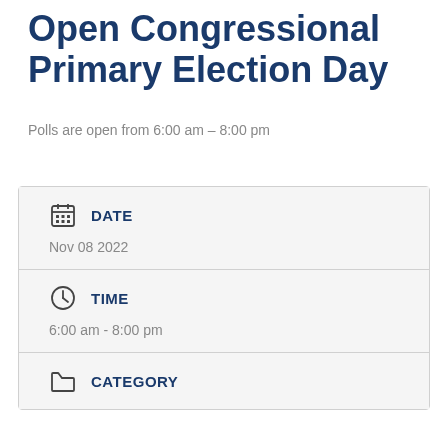Open Congressional Primary Election Day
Polls are open from 6:00 am – 8:00 pm
| DATE | Nov 08 2022 |
| TIME | 6:00 am - 8:00 pm |
| CATEGORY |  |